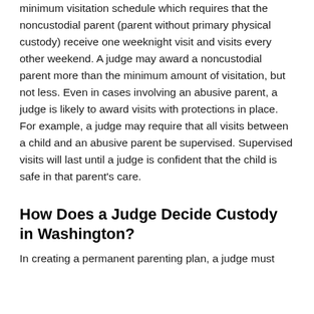minimum visitation schedule which requires that the noncustodial parent (parent without primary physical custody) receive one weeknight visit and visits every other weekend. A judge may award a noncustodial parent more than the minimum amount of visitation, but not less. Even in cases involving an abusive parent, a judge is likely to award visits with protections in place. For example, a judge may require that all visits between a child and an abusive parent be supervised. Supervised visits will last until a judge is confident that the child is safe in that parent's care.
How Does a Judge Decide Custody in Washington?
In creating a permanent parenting plan, a judge must